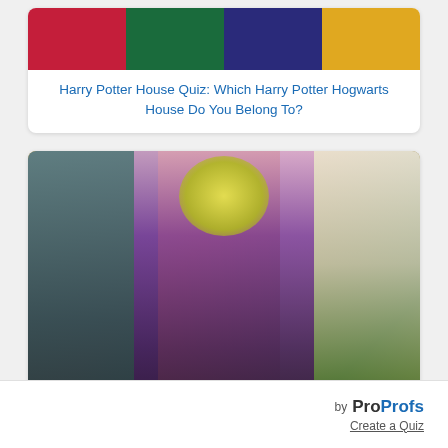[Figure (illustration): Harry Potter Hogwarts house banners (Gryffindor, Slytherin, Ravenclaw, Hufflepuff) with emblems]
Harry Potter House Quiz: Which Harry Potter Hogwarts House Do You Belong To?
[Figure (illustration): Anime characters: a figure with purple hair and ornate headpiece in the center, a character with teal hair and witches hat on the left, and a character in green robes on the right, with warm orange background]
Which Anime Character Are You Most Like? Quiz
by ProProfs Create a Quiz